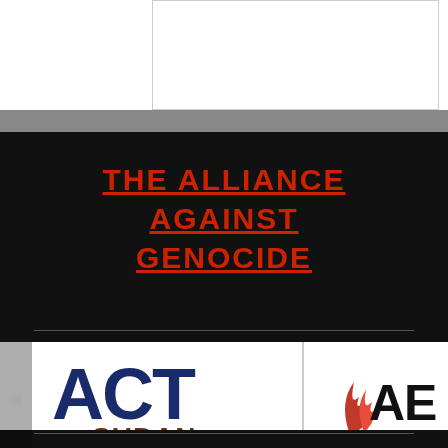updates:
[Figure (logo): Social media icons: Facebook, Twitter, YouTube in gray]
THE ALLIANCE AGAINST GENOCIDE
[Figure (logo): ACT for Sudan logo and AE (Alliance logo with flame icon, text PREVENTING CRIM[ES])]
Genocide Watch is the Coordinator of the Alliance Against Genocide. Founded in 1999, the Alliance is made up of over organizations from around the world and